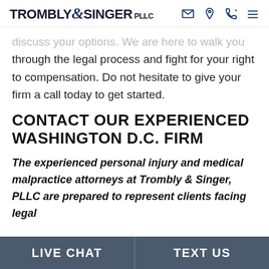TROMBLY & SINGER PLLC
discuss your options. We are here to walk you through the legal process and fight for your right to compensation. Do not hesitate to give your firm a call today to get started.
CONTACT OUR EXPERIENCED WASHINGTON D.C. FIRM
The experienced personal injury and medical malpractice attorneys at Trombly & Singer, PLLC are prepared to represent clients facing legal
LIVE CHAT   TEXT US